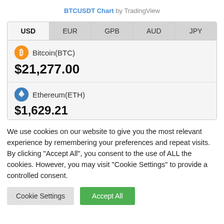BTCUSDT Chart by TradingView
| USD | EUR | GPB | AUD | JPY |
| --- | --- | --- | --- | --- |
| Bitcoin(BTC) |  |  |  |  |
| $21,277.00 |  |  |  |  |
| Ethereum(ETH) |  |  |  |  |
| $1,629.21 |  |  |  |  |
We use cookies on our website to give you the most relevant experience by remembering your preferences and repeat visits. By clicking "Accept All", you consent to the use of ALL the cookies. However, you may visit "Cookie Settings" to provide a controlled consent.
Cookie Settings   Accept All